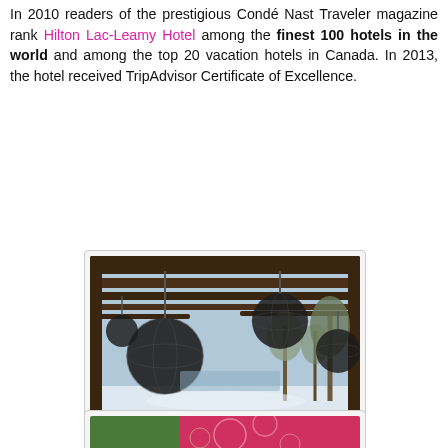In 2010 readers of the prestigious Condé Nast Traveler magazine rank Hilton Lac-Leamy Hotel among the finest 100 hotels in the world and among the top 20 vacation hotels in Canada. In 2013, the hotel received TripAdvisor Certificate of Excellence.
[Figure (photo): View from the hotel lobby showing hanging decorative orb lights under a pergola with a snowy winter landscape and trees in the background]
View from the lobby (Photos by Eva Fydrych / Fashion Studio Magazine)
[Figure (photo): Partial view of a colorful second photo, appears to show a decorative surface with pink and green tones]